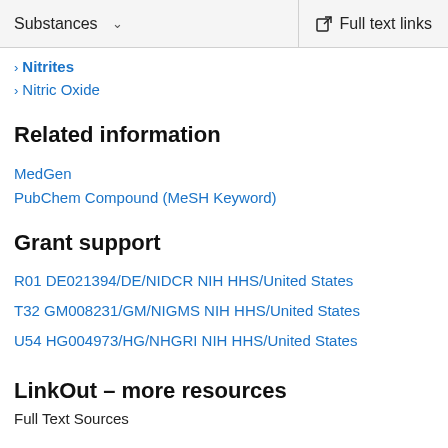Substances   Full text links
Nitrites
Nitric Oxide
Related information
MedGen
PubChem Compound (MeSH Keyword)
Grant support
R01 DE021394/DE/NIDCR NIH HHS/United States
T32 GM008231/GM/NIGMS NIH HHS/United States
U54 HG004973/HG/NHGRI NIH HHS/United States
LinkOut – more resources
Full Text Sources